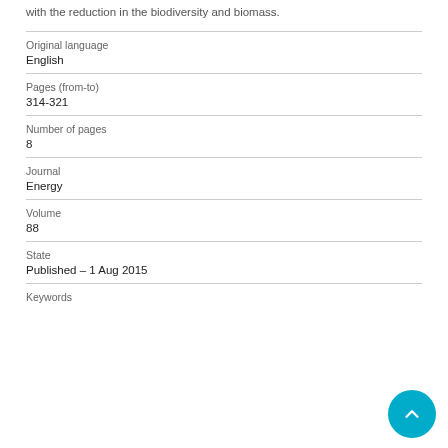with the reduction in the biodiversity and biomass.
| Field | Value |
| --- | --- |
| Original language | English |
| Pages (from-to) | 314-321 |
| Number of pages | 8 |
| Journal | Energy |
| Volume | 88 |
| State | Published – 1 Aug 2015 |
Keywords